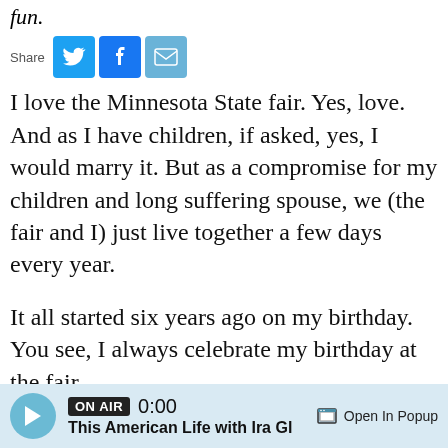fun.
Share
I love the Minnesota State fair. Yes, love. And as I have children, if asked, yes, I would marry it. But as a compromise for my children and long suffering spouse, we (the fair and I) just live together a few days every year.
It all started six years ago on my birthday. You see, I always celebrate my birthday at the fair.
The fair is the perfect place for a shy extrovert to be -- lots of energy and no need to be afraid to start a conversation. After a whole day, sun up till fireworks, I was chatting with someone on the way out of the fair, regaling them with my love of the fair and wishing I could just curl up on a fair bench
ON AIR  0:00  This American Life with Ira Gl  Open In Popup